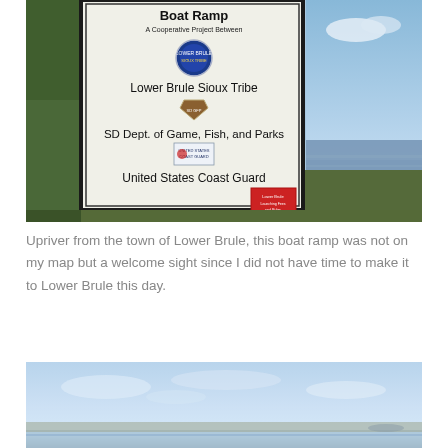[Figure (photo): Photo of a boat ramp sign reading 'Boat Ramp - A Cooperative Project Between - Lower Brule Sioux Tribe - SD Dept. of Game, Fish, and Parks - United States Coast Guard', with logos for each organization, outdoors near a river with grass and trees in the background.]
Upriver from the town of Lower Brule, this boat ramp was not on my map but a welcome sight since I did not have time to make it to Lower Brule this day.
[Figure (photo): Photo of a wide open sky with light clouds and water or flat landscape at the bottom.]